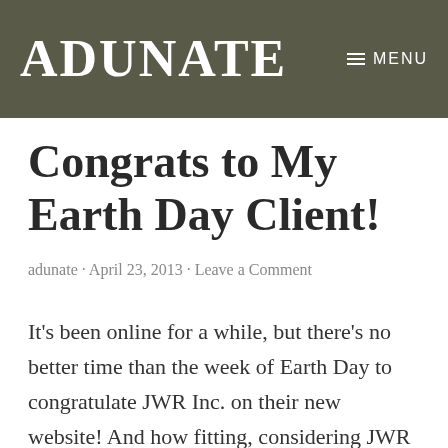ADUNATE
Congrats to My Earth Day Client!
adunate · April 23, 2013 · Leave a Comment
It's been online for a while, but there's no better time than the week of Earth Day to congratulate JWR Inc. on their new website! And how fitting, considering JWR and its sister company NewWay Global are innovative leaders in the waste and